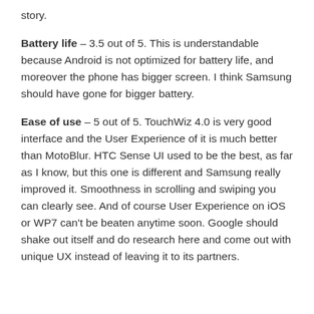story.
Battery life – 3.5 out of 5. This is understandable because Android is not optimized for battery life, and moreover the phone has bigger screen. I think Samsung should have gone for bigger battery.
Ease of use – 5 out of 5. TouchWiz 4.0 is very good interface and the User Experience of it is much better than MotoBlur. HTC Sense UI used to be the best, as far as I know, but this one is different and Samsung really improved it. Smoothness in scrolling and swiping you can clearly see. And of course User Experience on iOS or WP7 can't be beaten anytime soon. Google should shake out itself and do research here and come out with unique UX instead of leaving it to its partners.